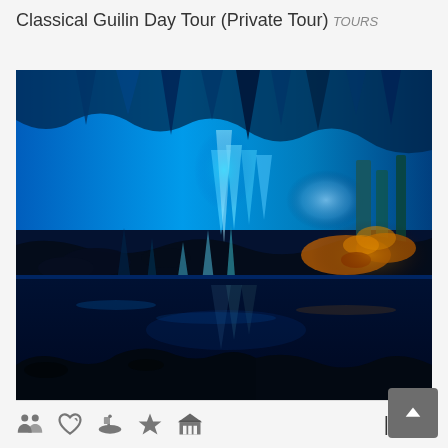Classical Guilin Day Tour (Private Tour)
TOURS
[Figure (photo): Illuminated cave interior with blue and teal lighting reflecting off a still underground lake, with stalactites and stalagmites visible. Some formations are lit with warm orange and yellow tones.]
| $95